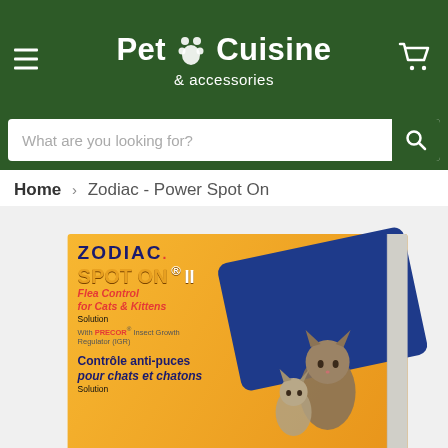Pet Cuisine & accessories
What are you looking for?
Home > Zodiac - Power Spot On
[Figure (photo): Zodiac Spot On II Flea Control for Cats & Kittens product box with two cats pictured, orange and blue packaging]